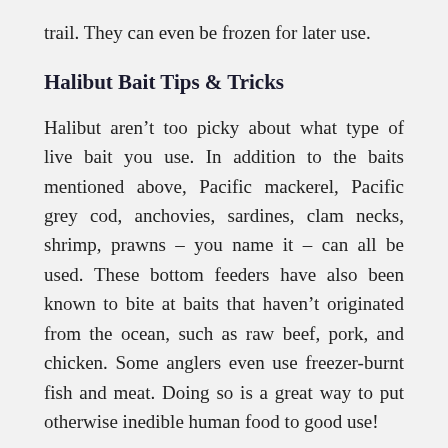trail. They can even be frozen for later use.
Halibut Bait Tips & Tricks
Halibut aren't too picky about what type of live bait you use. In addition to the baits mentioned above, Pacific mackerel, Pacific grey cod, anchovies, sardines, clam necks, shrimp, prawns – you name it – can all be used. These bottom feeders have also been known to bite at baits that haven't originated from the ocean, such as raw beef, pork, and chicken. Some anglers even use freezer-burnt fish and meat. Doing so is a great way to put otherwise inedible human food to good use!
To learn more about halibut bait, at the end of